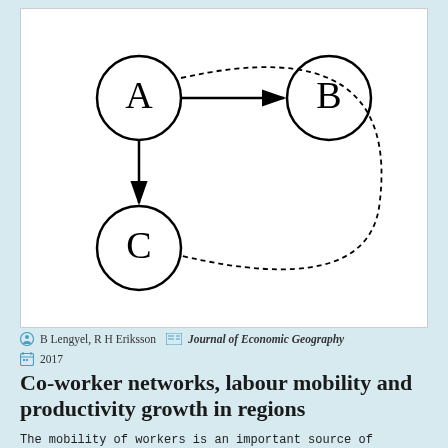[Figure (network-graph): A directed graph with three nodes A, B, C. Solid arrow from A to B (horizontal, right). Solid arrow from A to C (vertical, downward). Dotted curved arc from B curving around to C (going right and down, connecting B back to C via a large curve outside).]
B Lengyel, R H Eriksson   Journal of Economic Geography   2017
Co-worker networks, labour mobility and productivity growth in regions
The mobility of workers is an important source of